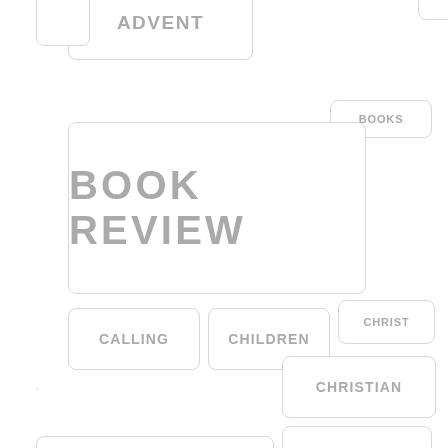ADVENT
BOOKS
BOOK REVIEW
CALLING
CHILDREN
CHRIST
CHRISTIAN
CHRISTMAS
CHRISTIANITY
CHURCH
COMMUNITY
CREATION